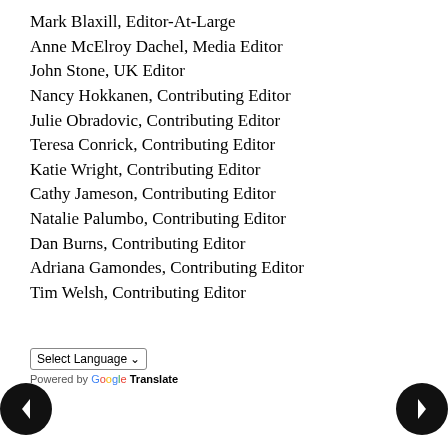Mark Blaxill, Editor-At-Large
Anne McElroy Dachel, Media Editor
John Stone, UK Editor
Nancy Hokkanen, Contributing Editor
Julie Obradovic, Contributing Editor
Teresa Conrick, Contributing Editor
Katie Wright, Contributing Editor
Cathy Jameson, Contributing Editor
Natalie Palumbo, Contributing Editor
Dan Burns, Contributing Editor
Adriana Gamondes, Contributing Editor
Tim Welsh, Contributing Editor
Select Language | Powered by Google Translate